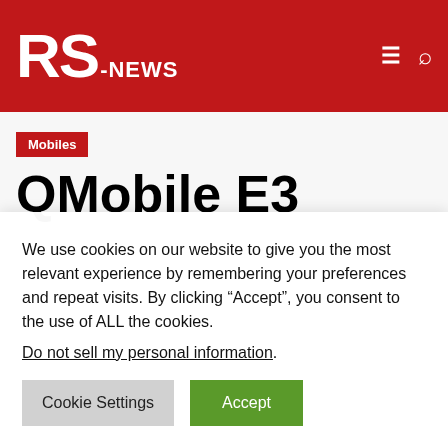RS-NEWS
Mobiles
QMobile E3 Dual, S15 & S9 Launched
We use cookies on our website to give you the most relevant experience by remembering your preferences and repeat visits. By clicking “Accept”, you consent to the use of ALL the cookies.
Do not sell my personal information.